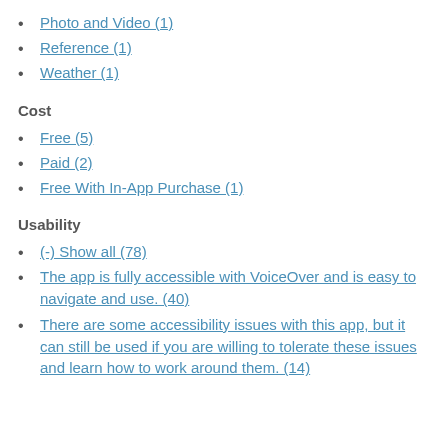Photo and Video (1)
Reference (1)
Weather (1)
Cost
Free (5)
Paid (2)
Free With In-App Purchase (1)
Usability
(-) Show all (78)
The app is fully accessible with VoiceOver and is easy to navigate and use. (40)
There are some accessibility issues with this app, but it can still be used if you are willing to tolerate these issues and learn how to work around them. (14)